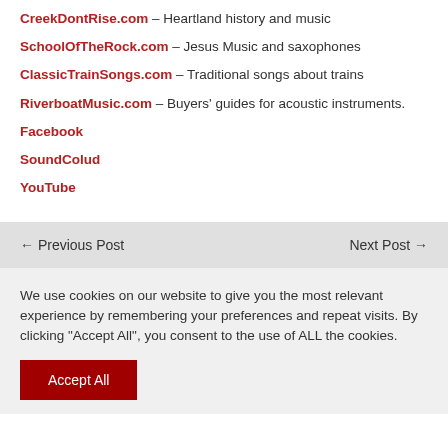CreekDontRise.com – Heartland history and music
SchoolOfTheRock.com – Jesus Music and saxophones
ClassicTrainSongs.com – Traditional songs about trains
RiverboatMusic.com – Buyers' guides for acoustic instruments.
Facebook
SoundColud
YouTube
← Previous Post    Next Post →
We use cookies on our website to give you the most relevant experience by remembering your preferences and repeat visits. By clicking "Accept All", you consent to the use of ALL the cookies.
Accept All